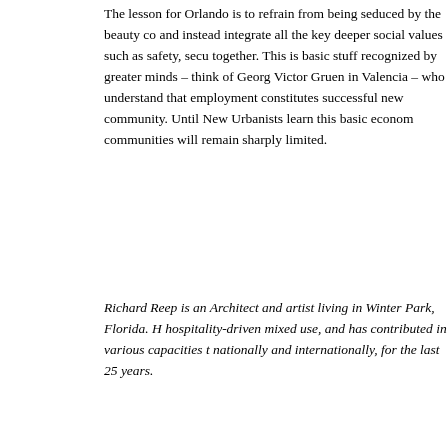The lesson for Orlando is to refrain from being seduced by the beauty co and instead integrate all the key deeper social values such as safety, secu together. This is basic stuff recognized by greater minds – think of Georg Victor Gruen in Valencia – who understand that employment constitutes successful new community. Until New Urbanists learn this basic econom communities will remain sharply limited.
Richard Reep is an Architect and artist living in Winter Park, Florida. H hospitality-driven mixed use, and has contributed in various capacities t nationally and internationally, for the last 25 years.